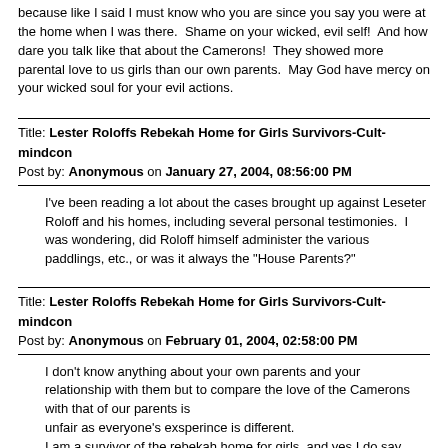because like I said I must know who you are since you say you were at the home when I was there.  Shame on your wicked, evil self!  And how dare you talk like that about the Camerons!  They showed more parental love to us girls than our own parents.  May God have mercy on your wicked soul for your evil actions.
Title: Lester Roloffs Rebekah Home for Girls Survivors-Cult-mindcon
Post by: Anonymous on January 27, 2004, 08:56:00 PM
I've been reading a lot about the cases brought up against Leseter Roloff and his homes, including several personal testimonies.  I was wondering, did Roloff himself administer the various paddlings, etc., or was it always the "House Parents?"
Title: Lester Roloffs Rebekah Home for Girls Survivors-Cult-mindcon
Post by: Anonymous on February 01, 2004, 02:58:00 PM
I don't know anything about your own parents and your relationship with them but to compare the love of the Camerons with that of our parents is unfair as everyone's exsperince is different.
I am a survivor of the rebekah home for girls, and yes I do say survivor because to live with the abandonment of one's family, to be thrust in to a unknown enviorment, with out coping skills, counseling, or a friend in the